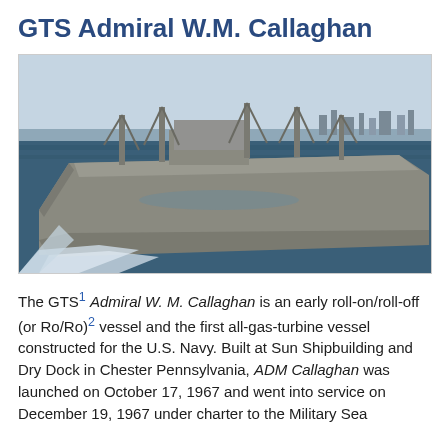GTS Admiral W.M. Callaghan
[Figure (photo): Aerial/side view photograph of the GTS Admiral W.M. Callaghan ship underway at sea, showing the vessel's bow, deck cranes, and wake in the water with a shoreline visible in the background.]
The GTS[1] Admiral W. M. Callaghan is an early roll-on/roll-off (or Ro/Ro)[2] vessel and the first all-gas-turbine vessel constructed for the U.S. Navy. Built at Sun Shipbuilding and Dry Dock in Chester Pennsylvania, ADM Callaghan was launched on October 17, 1967 and went into service on December 19, 1967 under charter to the Military Sea